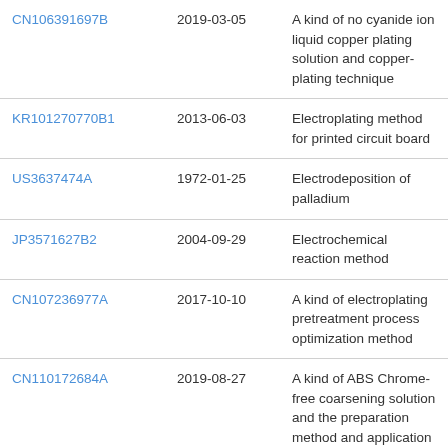| Patent Number | Date | Title |
| --- | --- | --- |
| CN106391697B | 2019-03-05 | A kind of no cyanide ion liquid copper plating solution and copper-plating technique |
| KR101270770B1 | 2013-06-03 | Electroplating method for printed circuit board |
| US3637474A | 1972-01-25 | Electrodeposition of palladium |
| JP3571627B2 | 2004-09-29 | Electrochemical reaction method |
| CN107236977A | 2017-10-10 | A kind of electroplating pretreatment process optimization method |
| CN110172684A | 2019-08-27 | A kind of ABS Chrome-free coarsening solution and the preparation method and application thereof |
| CN104342726A | 2015-02-11 | Cyanide-free silver plating method |
| CN109280945A | 2019-01-29 | PCB/FPC the dry film pre- |